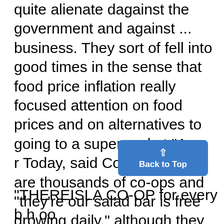quite alienate dagainst the government and against ... business. They sort of fell into good times in the sense that food price inflation really focused attention on food prices and on alternatives to going to a supermarket."A on r Today, said Cotterill, there are thousands of co-ops and "they're our salad bar is free growing daily," although they account O rS for less than one or two per cent of total O th our dinners and grocery sales.
[Figure (other): Back to Top button — blue rounded rectangle with an upward caret arrow and the text 'Back to Top']
"THEREISLA CO-OP for every b h oo